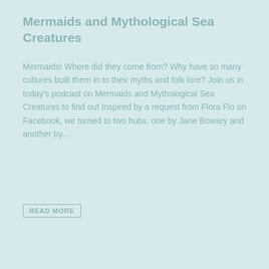Mermaids and Mythological Sea Creatures
Mermaids! Where did they come from? Why have so many cultures built them in to their myths and folk lore? Join us in today's podcast on Mermaids and Mythological Sea Creatures to find out Inspired by a request from Flora Flo on Facebook, we turned to two hubs: one by Jane Bowary and another by...
READ MORE